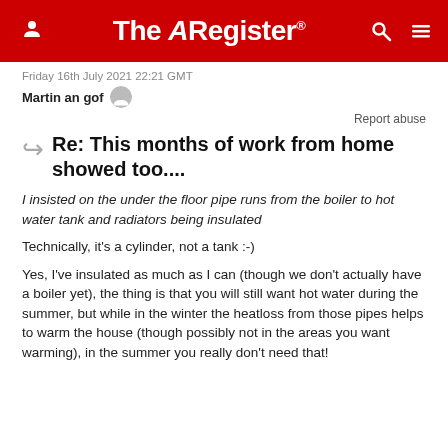The Register
Friday 16th July 2021 22:21 GMT
Martin an gof
Report abuse
Re: This months of work from home showed too....
I insisted on the under the floor pipe runs from the boiler to hot water tank and radiators being insulated
Technically, it's a cylinder, not a tank :-)
Yes, I've insulated as much as I can (though we don't actually have a boiler yet), the thing is that you will still want hot water during the summer, but while in the winter the heatloss from those pipes helps to warm the house (though possibly not in the areas you want warming), in the summer you really don't need that!